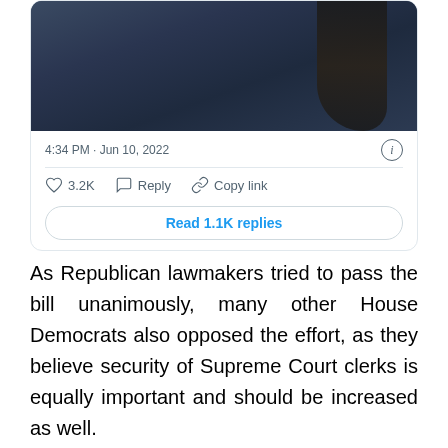[Figure (screenshot): Screenshot of a tweet showing a video still of a person, timestamp 4:34 PM · Jun 10, 2022, with 3.2K likes, Reply and Copy link actions, and a 'Read 1.1K replies' button]
As Republican lawmakers tried to pass the bill unanimously, many other House Democrats also opposed the effort, as they believe security of Supreme Court clerks is equally important and should be increased as well.